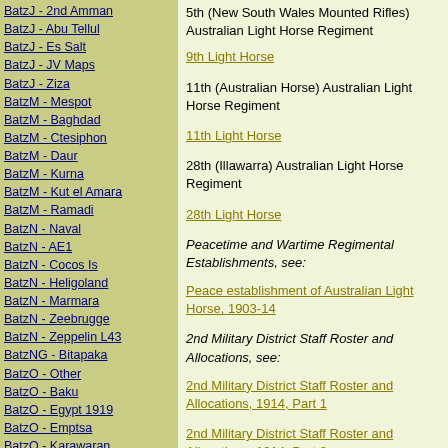BatzJ - 2nd Amman
BatzJ - Abu Tellul
BatzJ - Es Salt
BatzJ - JV Maps
BatzJ - Ziza
BatzM - Mespot
BatzM - Baghdad
BatzM - Ctesiphon
BatzM - Daur
BatzM - Kurna
BatzM - Kut el Amara
BatzM - Ramadi
BatzN - Naval
BatzN - AE1
BatzN - Cocos Is
BatzN - Heligoland
BatzN - Marmara
BatzN - Zeebrugge
BatzN - Zeppelin L43
BatzNG - Bitapaka
BatzO - Other
BatzO - Baku
BatzO - Egypt 1919
BatzO - Emptsa
BatzO - Karawaran
BatzO - Peitang
BatzO - Wassa
BatzP - Palestine
5th (New South Wales Mounted Rifles) Australian Light Horse Regiment
9th Light Horse
11th (Australian Horse) Australian Light Horse Regiment
11th Light Horse
28th (Illawarra) Australian Light Horse Regiment
28th Light Horse
Peacetime and Wartime Regimental Establishments, see:
Peace establishment of Australian Light Horse, 1903-14
2nd Military District Staff Roster and Allocations, see:
2nd Military District Staff Roster and Allocations, 1914, Part 1
2nd Military District Staff Roster and Allocations, 1914, Part 2
2nd Military District Staff Roster and Allocations,